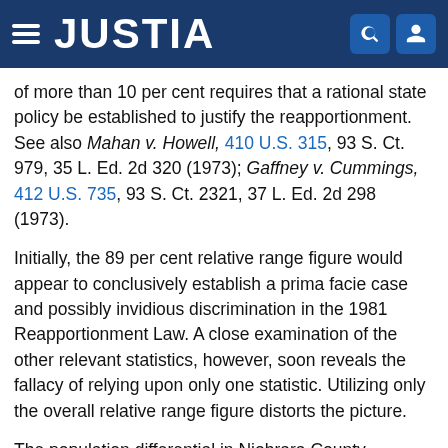JUSTIA
of more than 10 per cent requires that a rational state policy be established to justify the reapportionment. See also Mahan v. Howell, 410 U.S. 315, 93 S. Ct. 979, 35 L. Ed. 2d 320 (1973); Gaffney v. Cummings, 412 U.S. 735, 93 S. Ct. 2321, 37 L. Ed. 2d 298 (1973).
Initially, the 89 per cent relative range figure would appear to conclusively establish a prima facie case and possibly invidious discrimination in the 1981 Reapportionment Law. A close examination of the other relevant statistics, however, soon reveals the fallacy of relying upon only one statistic. Utilizing only the overall relative range figure distorts the picture.
The population differential in Niobrara County between the 1965 court-ordered reapportionment, *783 as affirmed by the Supreme Court, and the 1981